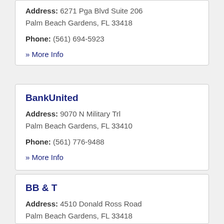Address: 6271 Pga Blvd Suite 206 Palm Beach Gardens, FL 33418
Phone: (561) 694-5923
» More Info
BankUnited
Address: 9070 N Military Trl Palm Beach Gardens, FL 33410
Phone: (561) 776-9488
» More Info
BB & T
Address: 4510 Donald Ross Road Palm Beach Gardens, FL 33418